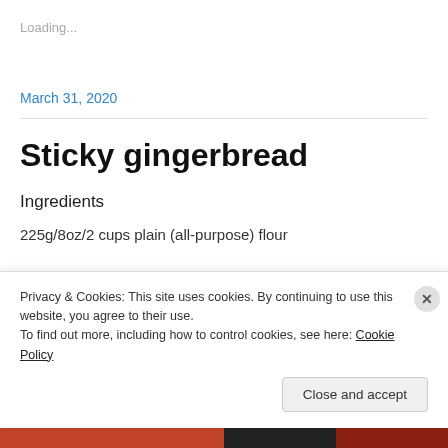Loading...
March 31, 2020
Sticky gingerbread
Ingredients
225g/8oz/2 cups plain (all-purpose) flour
Privacy & Cookies: This site uses cookies. By continuing to use this website, you agree to their use.
To find out more, including how to control cookies, see here: Cookie Policy
Close and accept